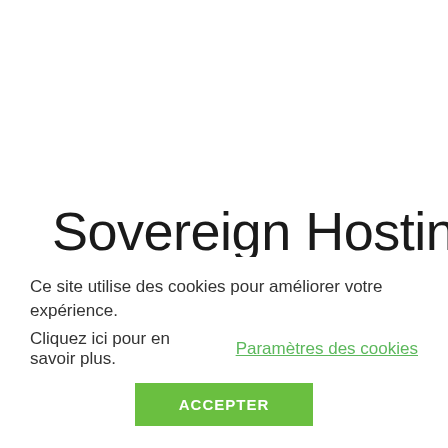Sovereign Hosting
The second option is to favor French or
Ce site utilise des cookies pour améliorer votre expérience. Cliquez ici pour en savoir plus. Paramètres des cookies
ACCEPTER